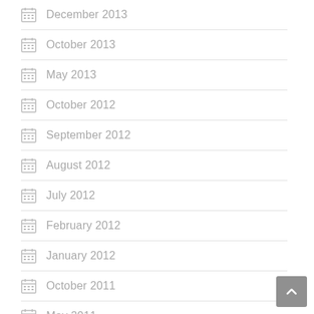December 2013
October 2013
May 2013
October 2012
September 2012
August 2012
July 2012
February 2012
January 2012
October 2011
May 2011
March 2011